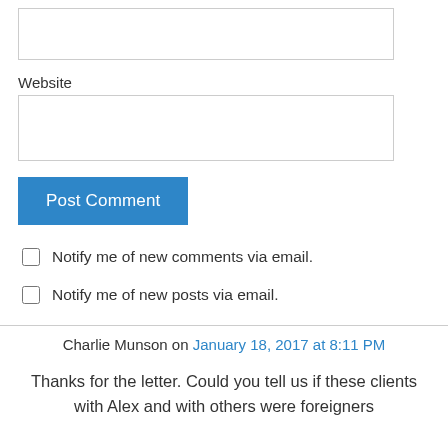Website
Post Comment
Notify me of new comments via email.
Notify me of new posts via email.
Charlie Munson on January 18, 2017 at 8:11 PM
Thanks for the letter. Could you tell us if these clients with Alex and with others were foreigners